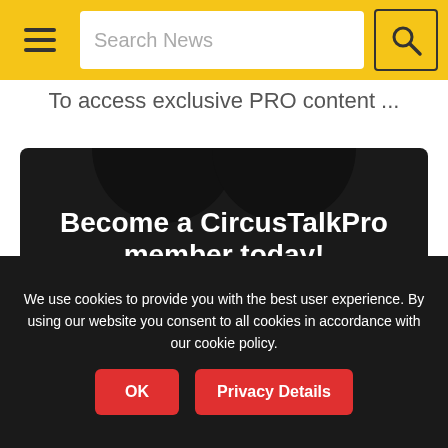Search News
To access exclusive PRO content ...
[Figure (illustration): Dark promotional card with two arch shapes at top, title 'Become a CircusTalkPro member today!', subtitle text about multidisciplinary performing arts industry, and a yellow bar at bottom]
We use cookies to provide you with the best user experience. By using our website you consent to all cookies in accordance with our cookie policy.
OK   Privacy Details